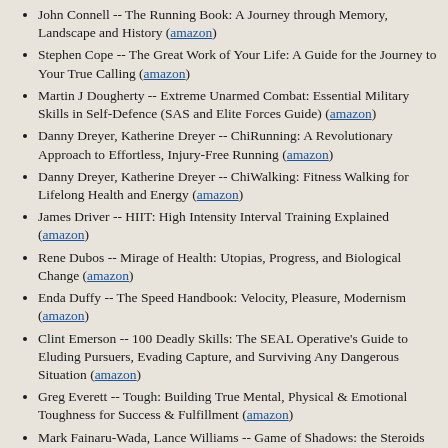John Connell -- The Running Book: A Journey through Memory, Landscape and History (amazon)
Stephen Cope -- The Great Work of Your Life: A Guide for the Journey to Your True Calling (amazon)
Martin J Dougherty -- Extreme Unarmed Combat: Essential Military Skills in Self-Defence (SAS and Elite Forces Guide) (amazon)
Danny Dreyer, Katherine Dreyer -- ChiRunning: A Revolutionary Approach to Effortless, Injury-Free Running (amazon)
Danny Dreyer, Katherine Dreyer -- ChiWalking: Fitness Walking for Lifelong Health and Energy (amazon)
James Driver -- HIIT: High Intensity Interval Training Explained (amazon)
Rene Dubos -- Mirage of Health: Utopias, Progress, and Biological Change (amazon)
Enda Duffy -- The Speed Handbook: Velocity, Pleasure, Modernism (amazon)
Clint Emerson -- 100 Deadly Skills: The SEAL Operative's Guide to Eluding Pursuers, Evading Capture, and Surviving Any Dangerous Situation (amazon)
Greg Everett -- Tough: Building True Mental, Physical & Emotional Toughness for Success & Fulfillment (amazon)
Mark Fainaru-Wada, Lance Williams -- Game of Shadows: the Steroids Scandal that Rocked Professional Sports